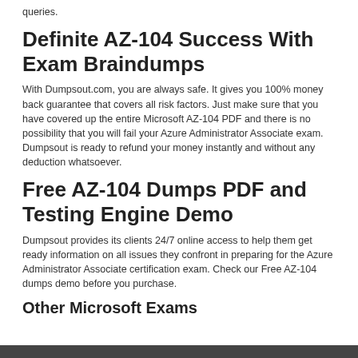queries.
Definite AZ-104 Success With Exam Braindumps
With Dumpsout.com, you are always safe. It gives you 100% money back guarantee that covers all risk factors. Just make sure that you have covered up the entire Microsoft AZ-104 PDF and there is no possibility that you will fail your Azure Administrator Associate exam. Dumpsout is ready to refund your money instantly and without any deduction whatsoever.
Free AZ-104 Dumps PDF and Testing Engine Demo
Dumpsout provides its clients 24/7 online access to help them get ready information on all issues they confront in preparing for the Azure Administrator Associate certification exam. Check our Free AZ-104 dumps demo before you purchase.
Other Microsoft Exams
[Figure (other): Dark/black horizontal bar at the bottom of the page]